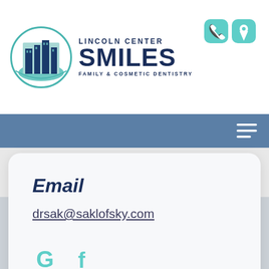[Figure (logo): Lincoln Center Smiles Family & Cosmetic Dentistry logo with circular building icon]
[Figure (other): Phone and location pin icons in teal/mint color in top right header]
[Figure (other): Blue navigation bar with hamburger menu icon (three horizontal lines) on right]
Email
drsak@saklofsky.com
[Figure (other): Google G icon and Facebook f icon in teal/mint color]